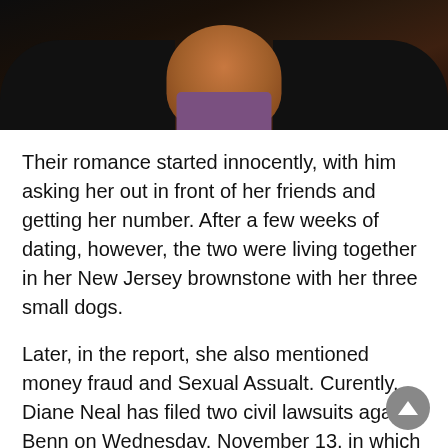[Figure (photo): Cropped photo of a person showing neck and shoulders, wearing a dark jacket over a purple/mauve top, dark background]
Their romance started innocently, with him asking her out in front of her friends and getting her number. After a few weeks of dating, however, the two were living together in her New Jersey brownstone with her three small dogs.
Later, in the report, she also mentioned money fraud and Sexual Assualt. Curently, Diane Neal has filed two civil lawsuits against Benn on Wednesday. November 13, in which she claims Benn is a “manipulative and maniacal fraudster, who allegedly “defrauded her of millions” and